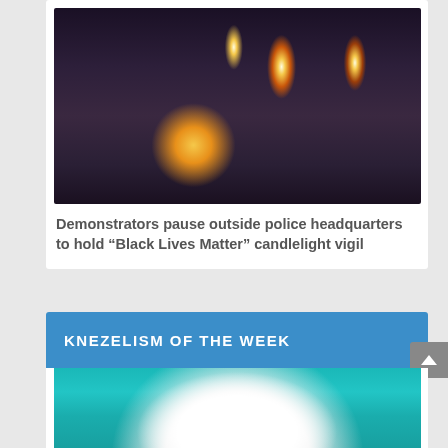[Figure (photo): Demonstrators holding candles at a Black Lives Matter candlelight vigil outside police headquarters, dark background with warm candlelight glow]
Demonstrators pause outside police headquarters to hold “Black Lives Matter” candlelight vigil
KNEZELISM OF THE WEEK
[Figure (illustration): Illustration on teal/turquoise background showing a stick figure with a red heart, a circular white shape with clouds and landscape, and text labels including LIFE and CHANGE with an arrow, Knezelism of the Week artwork]